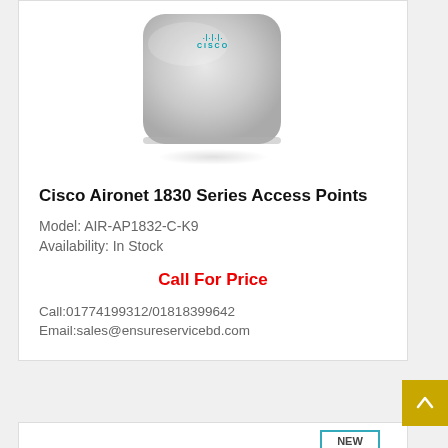[Figure (photo): Cisco Aironet 1830 Series wireless access point device, light gray color, rounded square shape with Cisco logo on top, shown from a slight angle]
Cisco Aironet 1830 Series Access Points
Model: AIR-AP1832-C-K9
Availability: In Stock
Call For Price
Call:01774199312/01818399642
Email:sales@ensureservicebd.com